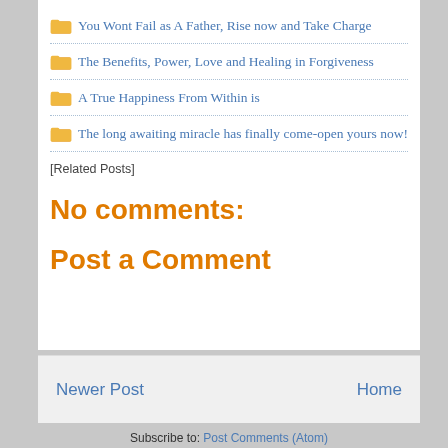You Wont Fail as A Father, Rise now and Take Charge
The Benefits, Power, Love and Healing in Forgiveness
A True Happiness From Within is
The long awaiting miracle has finally come-open yours now!
[Related Posts]
No comments:
Post a Comment
Newer Post
Home
Subscribe to: Post Comments (Atom)